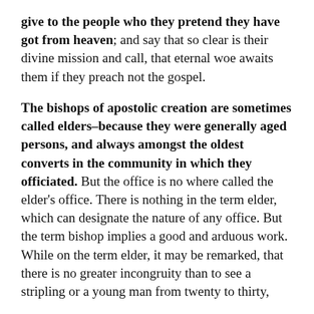give to the people who they pretend they have got from heaven; and say that so clear is their divine mission and call, that eternal woe awaits them if they preach not the gospel.
The bishops of apostolic creation are sometimes called elders–because they were generally aged persons, and always amongst the oldest converts in the community in which they officiated. But the office is no where called the elder's office. There is nothing in the term elder, which can designate the nature of any office. But the term bishop implies a good and arduous work. While on the term elder, it may be remarked, that there is no greater incongruity than to see a stripling or a young man from twenty to thirty,